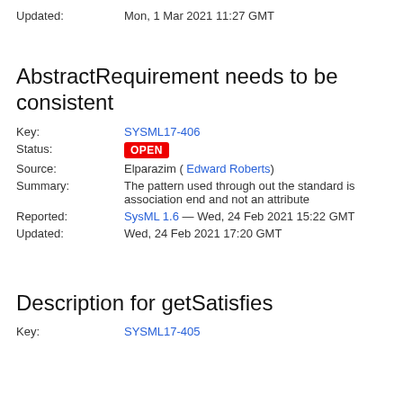Updated: Mon, 1 Mar 2021 11:27 GMT
AbstractRequirement needs to be consistent
Key: SYSML17-406
Status: OPEN
Source: Elparazim ( Edward Roberts)
Summary: The pattern used through out the standard is association end and not an attribute
Reported: SysML 1.6 — Wed, 24 Feb 2021 15:22 GMT
Updated: Wed, 24 Feb 2021 17:20 GMT
Description for getSatisfies
Key: SYSML17-405